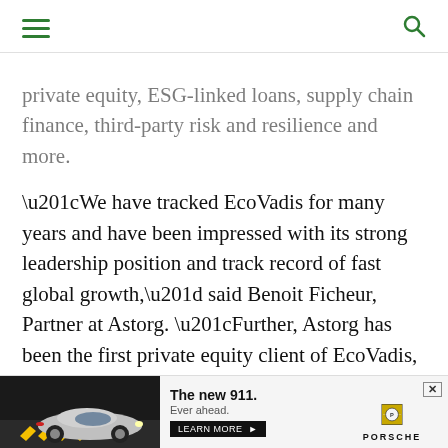private equity, ESG-linked loans, supply chain finance, third-party risk and resilience and more.
“We have tracked EcoVadis for many years and have been impressed with its strong leadership position and track record of fast global growth,” said Benoit Ficheur, Partner at Astorg. “Further, Astorg has been the first private equity client of EcoVadis, using its services to assess and measure our portfolio companies’ ESG performance and to raise sustainability-linked financing. This partnership has had a transformative impact across our portfolio, contri… s in
[Figure (other): Porsche 911 advertisement banner at the bottom of the page. Shows a Porsche 911 car image on the left, text 'The new 911. Ever ahead.' with a 'LEARN MORE' button in the center, and the Porsche logo on the right.]